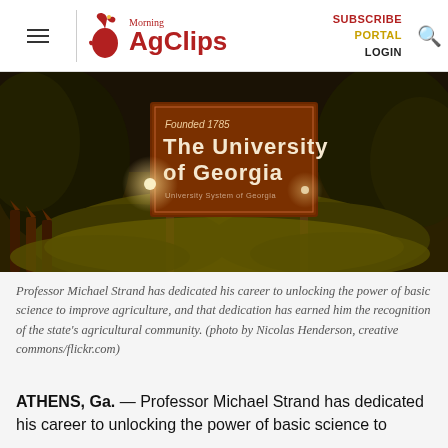Morning AgClips — SUBSCRIBE PORTAL LOGIN
[Figure (photo): Nighttime photo of The University of Georgia entrance sign, illuminated, reading 'Founded 1785 / The University of Georgia / University System of Georgia', surrounded by trees and shrubs]
Professor Michael Strand has dedicated his career to unlocking the power of basic science to improve agriculture, and that dedication has earned him the recognition of the state's agricultural community. (photo by Nicolas Henderson, creative commons/flickr.com)
ATHENS, Ga. — Professor Michael Strand has dedicated his career to unlocking the power of basic science to